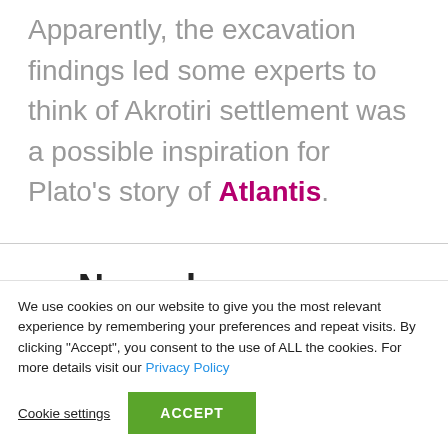Apparently, the excavation findings led some experts to think of Akrotiri settlement was a possible inspiration for Plato's story of Atlantis.
Nowadays, many believe in the theory
We use cookies on our website to give you the most relevant experience by remembering your preferences and repeat visits. By clicking "Accept", you consent to the use of ALL the cookies. For more details visit our Privacy Policy